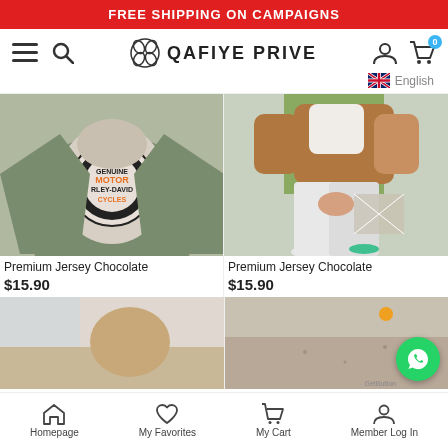FREE SHIPPING ON CAMPAIGNS
[Figure (screenshot): Qafiye Prive e-commerce website navigation bar with hamburger menu, search icon, logo, user icon, cart icon with badge 0, and English language selector with UK flag]
[Figure (photo): Person wearing olive green jacket over a Harley-Davidson Motor Cycles hoodie]
Premium Jersey Chocolate
$15.90
[Figure (photo): Person in brown hoodie and white jeans seated near a green structure]
Premium Jersey Chocolate
$15.90
[Figure (photo): Partial view of product image bottom left]
[Figure (photo): Partial view of product image bottom right with WhatsApp button overlay]
Homepage   My Favorites   My Cart   Member Log In